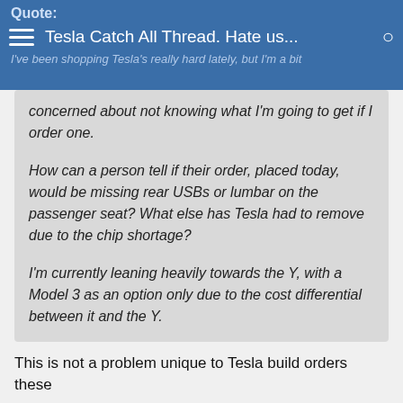Quote: Tesla Catch All Thread. Hate us... I've been shopping Tesla's really hard lately, but I'm a bit concerned about not knowing what I'm going to get if I order one.
I've been shopping Tesla's really hard lately, but I'm a bit concerned about not knowing what I'm going to get if I order one.

How can a person tell if their order, placed today, would be missing rear USBs or lumbar on the passenger seat? What else has Tesla had to remove due to the chip shortage?

I'm currently leaning heavily towards the Y, with a Model 3 as an option only due to the cost differential between it and the Y.
This is not a problem unique to Tesla build orders these